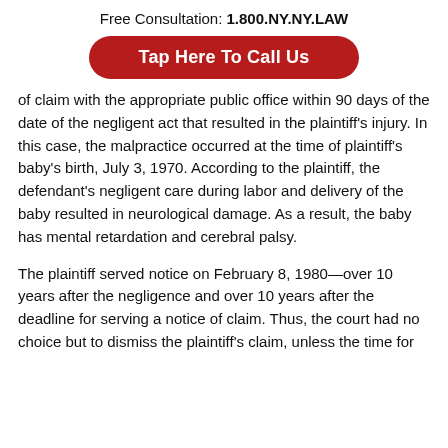Free Consultation: 1.800.NY.NY.LAW
Tap Here To Call Us
of claim with the appropriate public office within 90 days of the date of the negligent act that resulted in the plaintiff's injury. In this case, the malpractice occurred at the time of plaintiff's baby's birth, July 3, 1970. According to the plaintiff, the defendant's negligent care during labor and delivery of the baby resulted in neurological damage. As a result, the baby has mental retardation and cerebral palsy.
The plaintiff served notice on February 8, 1980—over 10 years after the negligence and over 10 years after the deadline for serving a notice of claim. Thus, the court had no choice but to dismiss the plaintiff's claim, unless the time for